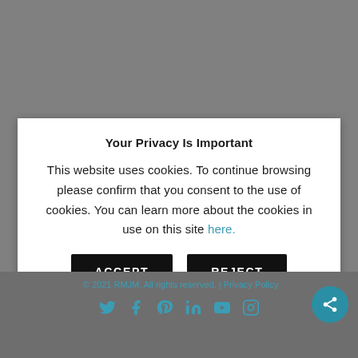Your Privacy Is Important
This website uses cookies. To continue browsing please confirm that you consent to the use of cookies. You can learn more about the cookies in use on this site here.
ACCEPT  REJECT
Privacy Policy   Cookie settings
© 2021 RMJM. All rights reserved. | Privacy Policy